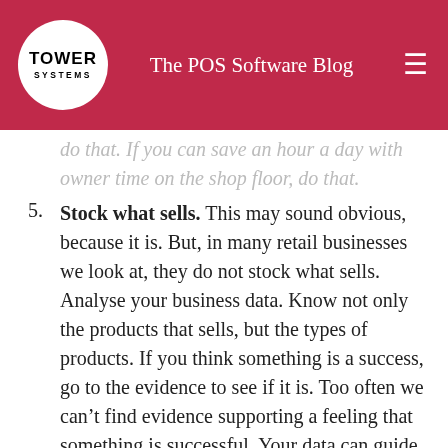The POS Software Blog
do that. If you can save an hour a day with owner time on the shop floor, do that.
5. Stock what sells. This may sound obvious, because it is. But, in many retail businesses we look at, they do not stock what sells. Analyse your business data. Know not only the products that sells, but the types of products. If you think something is a success, go to the evidence to see if it is. Too often we can’t find evidence supporting a feeling that something is successful. Your data can guide your buying so that you stock more of what sells.
6. Bring people back sooner with a thoughtfully